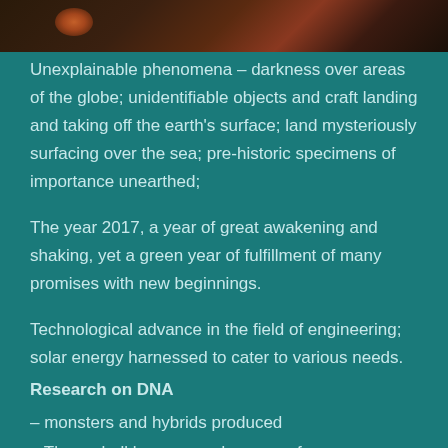[Figure (photo): Dark atmospheric image with orange/fire tones, partially cropped at top of page]
Unexplainable phenomena – darkness over areas of the globe; unidentifiable objects and craft landing and taking off the earth's surface; land mysteriously surfacing over the sea; pre-historic specimens of importance unearthed;
The year 2017, a year of great awakening and shaking, yet a green year of fulfillment of many promises with new beginnings.
Technological advance in the field of engineering; solar energy harnessed to cater to various needs.
Research on DNA
– monsters and hybrids produced
– There shall be wars and rumors of war.
Economic crisis hits nations of the world; Change in the structure of cabinets and parliaments – new candidates voted in.